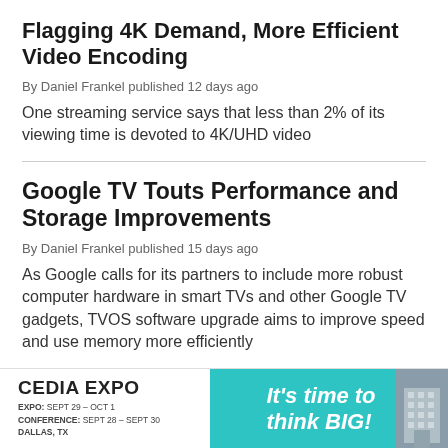Flagging 4K Demand, More Efficient Video Encoding
By Daniel Frankel published 12 days ago
One streaming service says that less than 2% of its viewing time is devoted to 4K/UHD video
Google TV Touts Performance and Storage Improvements
By Daniel Frankel published 15 days ago
As Google calls for its partners to include more robust computer hardware in smart TVs and other Google TV gadgets, TVOS software upgrade aims to improve speed and use memory more efficiently
[Figure (infographic): CEDIA EXPO advertisement banner. Left side: CEDIA EXPO logo, EXPO: SEPT 29 - OCT 1, CONFERENCE: SEPT 28 - SEPT 30, DALLAS, TX. Right side: cyan background with text 'It's time to think BIG!' and an image of a building.]